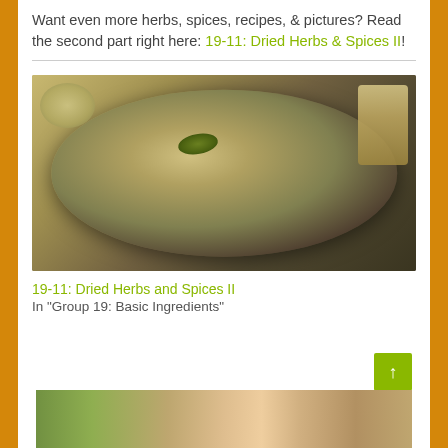Want even more herbs, spices, recipes, & pictures? Read the second part right here: 19-11: Dried Herbs & Spices II!
[Figure (photo): A stainless steel bowl containing roasted potatoes or root vegetables with dried herbs and spices sprinkled on top, with additional bowls visible in the background]
19-11: Dried Herbs and Spices II
In "Group 19: Basic Ingredients"
[Figure (photo): Partial view of an outdoor garden or patio scene at the bottom of the page]